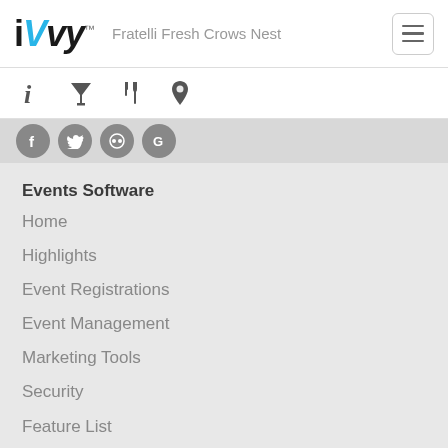iVvy — Fratelli Fresh Crows Nest
[Figure (screenshot): Navigation icon tabs: info (i), cocktail/filter, utensils (dining), map pin (location)]
[Figure (screenshot): Social media icon circles: Facebook, Twitter, TripAdvisor, Google]
Events Software
Home
Highlights
Event Registrations
Event Management
Marketing Tools
Security
Feature List
Venue Software
Home